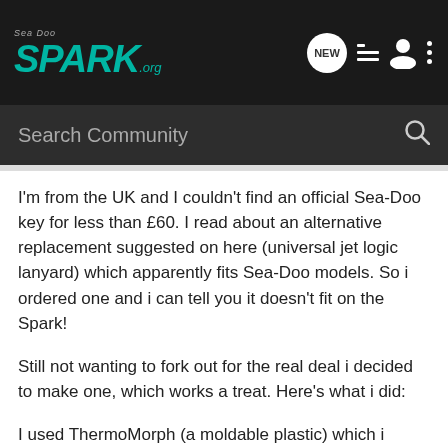Sea-Doo Spark.org
Search Community
I'm from the UK and I couldn't find an official Sea-Doo key for less than £60. I read about an alternative replacement suggested on here (universal jet logic lanyard) which apparently fits Sea-Doo models. So i ordered one and i can tell you it doesn't fit on the Spark!
Still not wanting to fork out for the real deal i decided to make one, which works a treat. Here's what i did:
I used ThermoMorph (a moldable plastic) which i already had - you can get 250g for about £5, and of course a magnet. I didn't want to use one that was too strong in case i damaged the magnetic switch, so i tried it out with a piece of fridge magnet (not that thin flexible stuff). It worked fine and would start if i